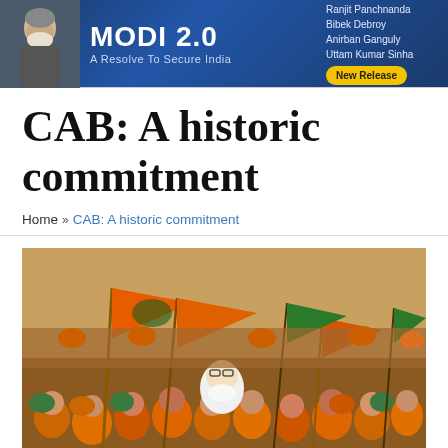[Figure (other): Advertisement banner for book 'MODI 2.0 – A Resolve To Secure India' by Ranjit Panchnanda, Bibek Debroy, Anirban Ganguly, Uttam Kumar Sinha. Labeled 'New Release'. Features image of elderly man on left, blue background.]
CAB: A historic commitment
Home » CAB: A historic commitment
[Figure (photo): Large photograph of a crowd of BJP supporters waving saffron (orange) BJP flags and wearing orange caps and helmets, with a person wearing a Narendra Modi mask visible in the center.]